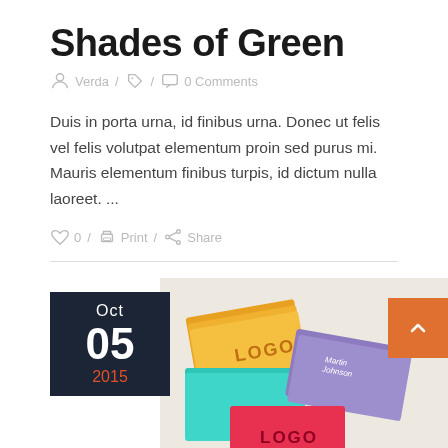Shades of Green
Verda / 0 Comments
Duis in porta urna, id finibus urna. Donec ut felis vel felis volutpat elementum proin sed purus mi. Mauris elementum finibus turpis, id dictum nulla laoreet. ...
0 / Print / Share
[Figure (photo): Date box showing Oct 05 2015 overlaid on a photo of colorful stacked business cards (yellow, teal, purple, red) with LOGO text, and an orange back-to-top button.]